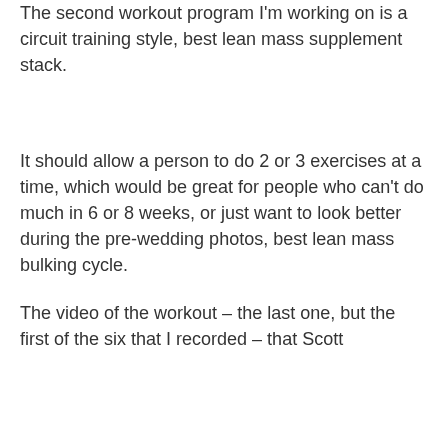The second workout program I'm working on is a circuit training style, best lean mass supplement stack.
It should allow a person to do 2 or 3 exercises at a time, which would be great for people who can't do much in 6 or 8 weeks, or just want to look better during the pre-wedding photos, best lean mass bulking cycle.
The video of the workout – the last one, but the first of the six that I recorded – that Scott did in November, looks like a real workout. What you can't see is the incredible work that he's put in over the last few months because he's a very motivated person.
His goal isn't so much about gaining more muscle but more about giving he and his fiance some solid abs and a great physique, best lean mass supplement stack.